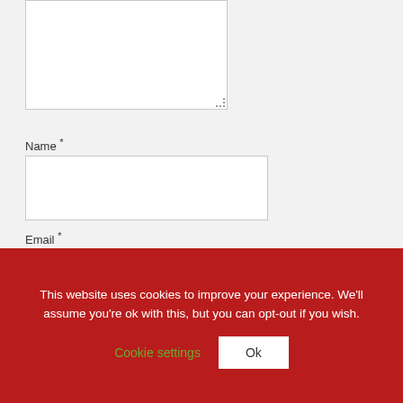[Figure (screenshot): Textarea input box (comment field), partially visible at top of page]
Name *
[Figure (screenshot): Name text input field]
Email *
[Figure (screenshot): Email text input field]
Website
[Figure (screenshot): Website text input field]
This website uses cookies to improve your experience. We'll assume you're ok with this, but you can opt-out if you wish.
Cookie settings
Ok